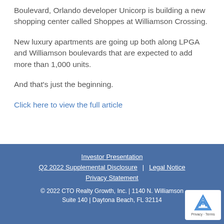Boulevard, Orlando developer Unicorp is building a new shopping center called Shoppes at Williamson Crossing.
New luxury apartments are going up both along LPGA and Williamson boulevards that are expected to add more than 1,000 units.
And that’s just the beginning.
Click here to view the full article
Investor Presentation | Q2 2022 Supplemental Disclosure | Legal Notice | Privacy Statement | © 2022 CTO Realty Growth, Inc. | 1140 N. Williamson Suite 140 | Daytona Beach, FL 32114